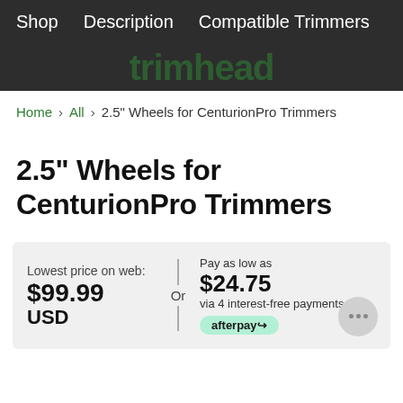Shop   Description   Compatible Trimmers
[Figure (logo): trimhead logo in dark green, partially visible/blurred]
Home > All > 2.5" Wheels for CenturionPro Trimmers
2.5" Wheels for CenturionPro Trimmers
Lowest price on web: $99.99 USD  Or  Pay as low as $24.75 via 4 interest-free payments with afterpay